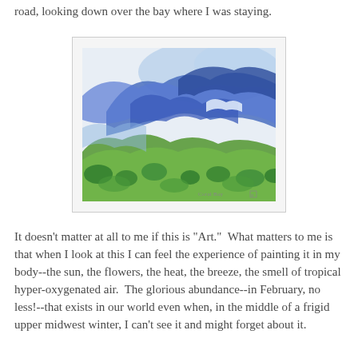road, looking down over the bay where I was staying.
[Figure (illustration): Watercolor painting of a tropical bay landscape viewed from above, with blue water and sky, green vegetation in the foreground, signed 'Coral Bay' in the lower right corner.]
It doesn't matter at all to me if this is "Art."  What matters to me is that when I look at this I can feel the experience of painting it in my body--the sun, the flowers, the heat, the breeze, the smell of tropical hyper-oxygenated air.  The glorious abundance--in February, no less!--that exists in our world even when, in the middle of a frigid upper midwest winter, I can't see it and might forget about it.